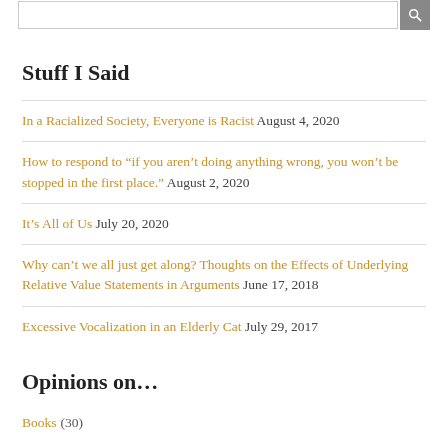[Search bar]
Stuff I Said
In a Racialized Society, Everyone is Racist August 4, 2020
How to respond to “if you aren’t doing anything wrong, you won’t be stopped in the first place.” August 2, 2020
It’s All of Us July 20, 2020
Why can’t we all just get along? Thoughts on the Effects of Underlying Relative Value Statements in Arguments June 17, 2018
Excessive Vocalization in an Elderly Cat July 29, 2017
Opinions on…
Books (30)